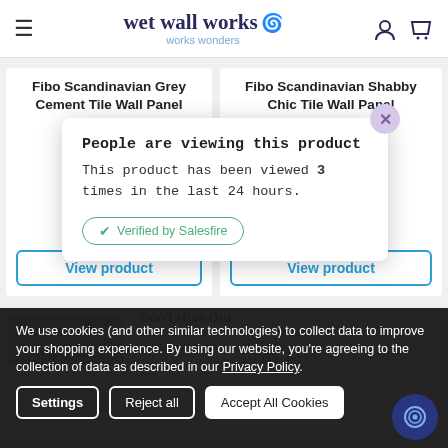wet wall works — works wonders
Fibo Scandinavian Grey Cement Tile Wall Panel
★★★★★ (0)
£134.95 (Inc. VAT) £112.46 (Ex. VAT)
View product
Fibo Scandinavian Shabby Chic Tile Wall Panel
★★★★★ (0)
View product
People are viewing this product
This product has been viewed 3 times in the last 24 hours.
Verified by Salesfire
Don't Miss Out
Hurry, order before 12pm to get your order dispatched today!
19:05:44
We use cookies (and other similar technologies) to collect data to improve your shopping experience. By using our website, you're agreeing to the collection of data as described in our Privacy Policy.
Settings
Reject all
Accept All Cookies